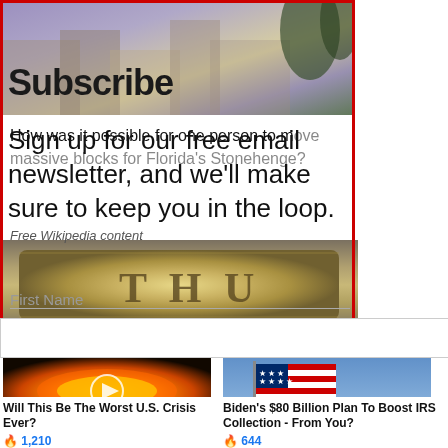[Figure (screenshot): Subscribe banner with decorative stone/garden background image]
Subscribe
How was it possible for one person to move massive blocks for Florida's Stonehenge?
Sign up for our free email newsletter, and we'll make sure to keep you in the loop.
Free Wikipedia content
[Figure (photo): Close-up of a gold/silver coin showing letters T H U]
First Name
Promoted X
[Figure (photo): Glowing map of the United States with fire/light effect, video play button overlay]
Will This Be The Worst U.S. Crisis Ever?
🔥 1,210
[Figure (photo): American flag waving against a blue sky]
Biden's $80 Billion Plan To Boost IRS Collection - From You?
🔥 644